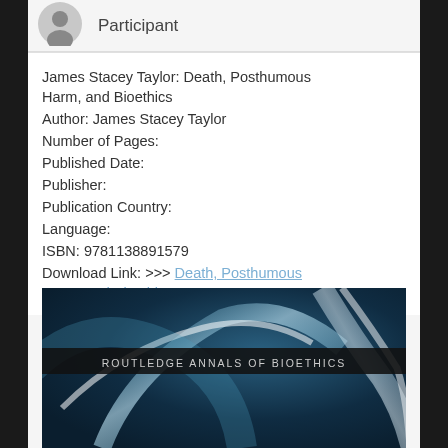[Figure (illustration): Gray user avatar silhouette icon]
Participant
James Stacey Taylor: Death, Posthumous Harm, and Bioethics
Author: James Stacey Taylor
Number of Pages:
Published Date:
Publisher:
Publication Country:
Language:
ISBN: 9781138891579
Download Link: >>> Death, Posthumous Harm, and Bioethics <<<
[Figure (photo): Book cover for 'Death, Posthumous Harm, and Bioethics' from Routledge Annals of Bioethics series. Dark blue abstract swirling light streaks on cover with a black banner reading 'ROUTLEDGE ANNALS OF BIOETHICS'.]